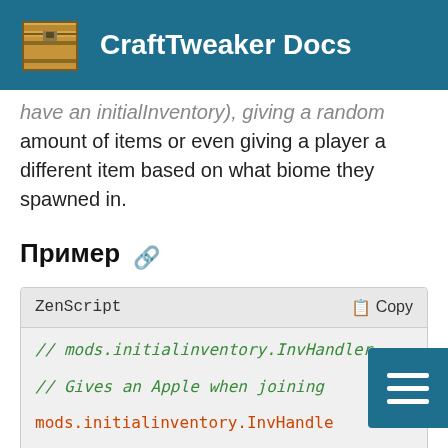CraftTweaker Docs
have an initialInventory), giving a random amount of items or even giving a player a different item based on what biome they spawned in.
Пример
[Figure (screenshot): ZenScript code block with Copy button, showing commented code lines: // mods.initialinventory.InvHandler., // Gives an Apple when joining, mods.initialinventory.InvHandle, // Puts a Golden Apple in the 5th in]